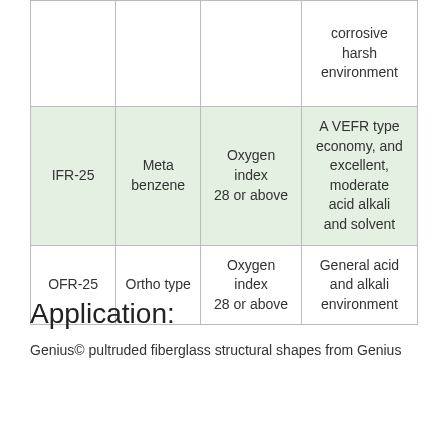|  |  |  | corrosive harsh environment |
| IFR-25 | Meta benzene | Oxygen index 28 or above | A VEFR type economy, and excellent, moderate acid alkali and solvent |
| OFR-25 | Ortho type | Oxygen index 28 or above | General acid and alkali environment |
Application:
Genius© pultruded fiberglass structural shapes from Genius